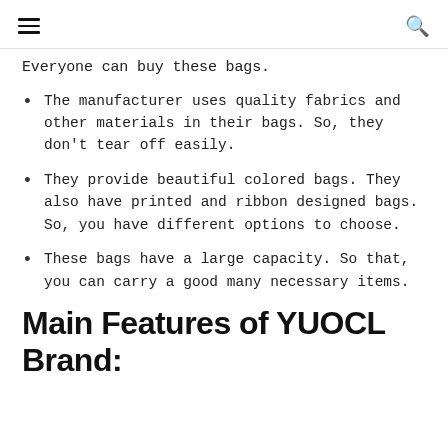≡  🔍
Everyone can buy these bags.
The manufacturer uses quality fabrics and other materials in their bags. So, they don't tear off easily.
They provide beautiful colored bags. They also have printed and ribbon designed bags. So, you have different options to choose.
These bags have a large capacity. So that, you can carry a good many necessary items.
Main Features of YUOCL Brand: